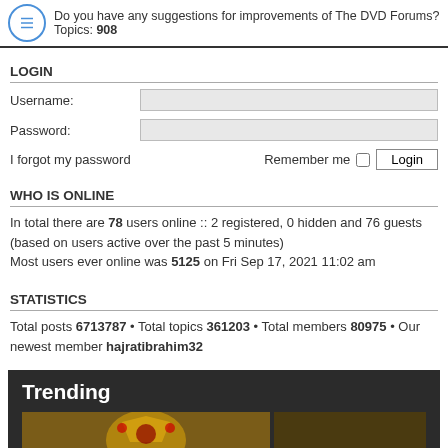Do you have any suggestions for improvements of The DVD Forums?
Topics: 908
LOGIN
Username:
Password:
I forgot my password   Remember me  Login
WHO IS ONLINE
In total there are 78 users online :: 2 registered, 0 hidden and 76 guests (based on users active over the past 5 minutes)
Most users ever online was 5125 on Fri Sep 17, 2021 11:02 am
STATISTICS
Total posts 6713787 • Total topics 361203 • Total members 80975 • Our newest member hajratibrahim32
Trending
[Figure (photo): Trending section with decorative jewelry/crown image on dark background]